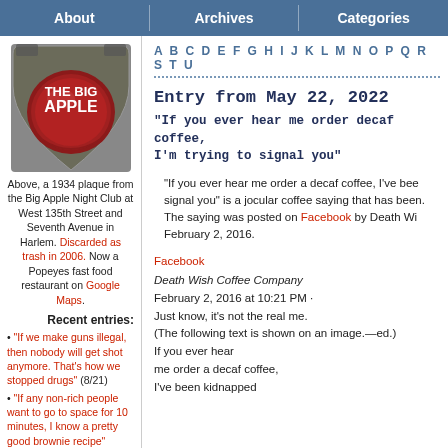About | Archives | Categories
A B C D E F G H I J K L M N O P Q R S T U
Entry from May 22, 2022
“If you ever hear me order decaf coffee, I’m trying to signal you”
“If you ever hear me order a decaf coffee, I’ve been signal you” is a jocular coffee saying that has been. The saying was posted on Facebook by Death Wish February 2, 2016.
[Figure (photo): 1934 plaque from the Big Apple Night Club at West 135th Street and Seventh Avenue in Harlem.]
Above, a 1934 plaque from the Big Apple Night Club at West 135th Street and Seventh Avenue in Harlem. Discarded as trash in 2006. Now a Popeyes fast food restaurant on Google Maps.
Recent entries:
“If we make guns illegal, then nobody will get shot anymore. That’s how we stopped drugs” (8/21)
“If any non-rich people want to go to space for 10 minutes, I know a pretty good brownie recipe” (8/21)
Entry in progress—BP (8/21)
Facebook
Death Wish Coffee Company
February 2, 2016 at 10:21 PM ·
Just know, it’s not the real me.
(The following text is shown on an image.—ed.)
If you ever hear
me order a decaf coffee,
I’ve been kidnapped